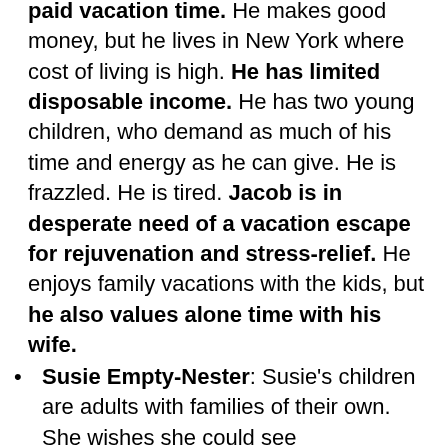paid vacation time. He makes good money, but he lives in New York where cost of living is high. He has limited disposable income. He has two young children, who demand as much of his time and energy as he can give. He is frazzled. He is tired. Jacob is in desperate need of a vacation escape for rejuvenation and stress-relief. He enjoys family vacations with the kids, but he also values alone time with his wife.
Susie Empty-Nester: Susie's children are adults with families of their own. She wishes she could see...